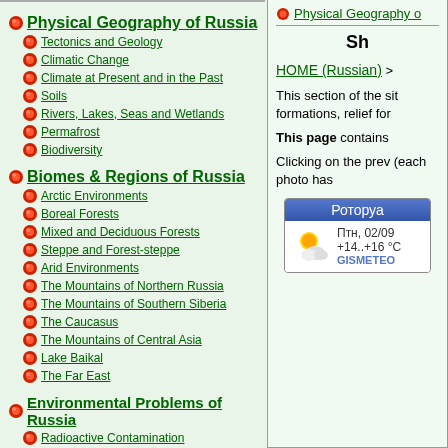Physical Geography of Russia
Tectonics and Geology
Climatic Change
Climate at Present and in the Past
Soils
Rivers, Lakes, Seas and Wetlands
Permafrost
Biodiversity
Biomes & Regions of Russia
Arctic Environments
Boreal Forests
Mixed and Deciduous Forests
Steppe and Forest-steppe
Arid Environments
The Mountains of Northern Russia
The Mountains of Southern Siberia
The Caucasus
The Mountains of Central Asia
Lake Baikal
The Far East
Environmental Problems of Russia
Radioactive Contamination
Oil and Gas Development
Physical Geography o
Sh
HOME (Russian) >
This section of the sit formations, relief for
This page contains
Clicking on the prev (each photo has
[Figure (other): Weather widget showing Роторуа, Птн 02/09, +14..+16 °C, GISMETEO]